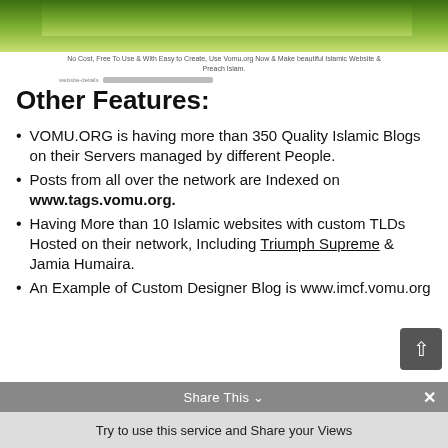[Figure (screenshot): Top portion of a website screenshot showing a green banner/header image]
No Cost, Free To Use & With Easy to Create, Use Vomu.org Now & Make beautiful Islamic Website & Preach Islam.
Other Features:
VOMU.ORG is having more than 350 Quality Islamic Blogs on their Servers managed by different People.
Posts from all over the network are Indexed on www.tags.vomu.org.
Having More than 10 Islamic websites with custom TLDs Hosted on their network, Including Triumph Supreme & Jamia Humaira.
An Example of Custom Designer Blog is www.imcf.vomu.org
Try to use this service and Share your Views